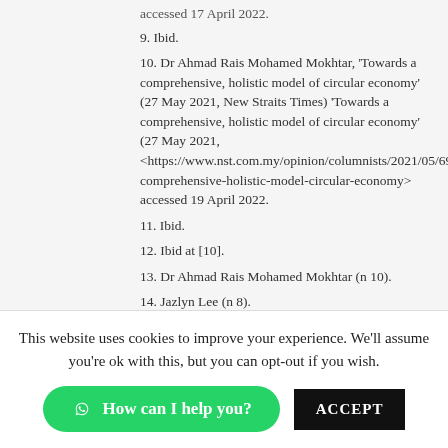accessed 17 April 2022.
9. Ibid.
10. Dr Ahmad Rais Mohamed Mokhtar, ‘Towards a comprehensive, holistic model of circular economy’ (27 May 2021, New Straits Times) ‘Towards a comprehensive, holistic model of circular economy’ (27 May 2021, <https://www.nst.com.my/opinion/columnists/2021/05/693348/towards-comprehensive-holistic-model-circular-economy> accessed 19 April 2022.
11. Ibid.
12. Ibid at [10].
13. Dr Ahmad Rais Mohamed Mokhtar (n 10).
14. Jazlyn Lee (n 8).
This website uses cookies to improve your experience. We’ll assume you’re ok with this, but you can opt-out if you wish.
How can I help you?
ACCEPT